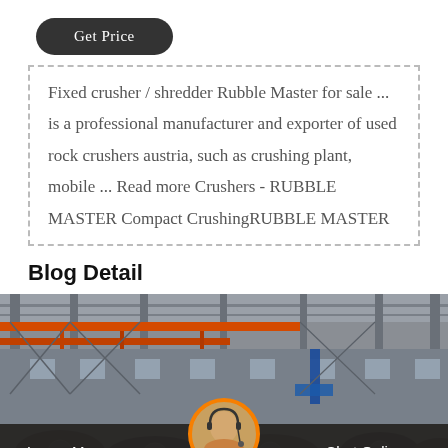Get Price
Fixed crusher / shredder Rubble Master for sale ... is a professional manufacturer and exporter of used rock crushers austria, such as crushing plant, mobile ... Read more Crushers - RUBBLE MASTER Compact CrushingRUBBLE MASTER
Blog Detail
[Figure (photo): Interior of a large industrial factory or manufacturing plant with metal scaffolding, orange cranes/hoists, large steel pillars, and industrial machinery parts on the floor. Chat bar at bottom with 'Leave Message' on left, 'Chat Online' on right, and an avatar icon in the center.]